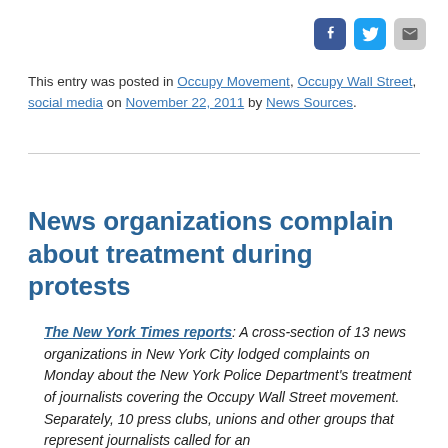[Figure (other): Social media sharing icons: Facebook (blue), Twitter (light blue), Email (gray)]
This entry was posted in Occupy Movement, Occupy Wall Street, social media on November 22, 2011 by News Sources.
News organizations complain about treatment during protests
The New York Times reports: A cross-section of 13 news organizations in New York City lodged complaints on Monday about the New York Police Department's treatment of journalists covering the Occupy Wall Street movement. Separately, 10 press clubs, unions and other groups that represent journalists called for an